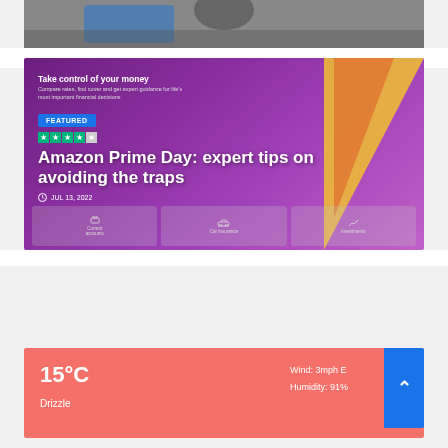[Figure (photo): Top portion of an image showing a person and a blue car, partially cropped at top of page]
[Figure (screenshot): Featured article card with purple/magenta gradient background. Shows 'Take control of your money' heading, Trustpilot stars, FEATURED badge, article title 'Amazon Prime Day: expert tips on avoiding the traps', date JUL 13, 2022, and bottom navigation icons for Current accounts, Car Insurance, Investments. Decorative yellow/orange triangles on right side.]
15°C
Drizzle
Wind: 3mph E
Humidity: 91%